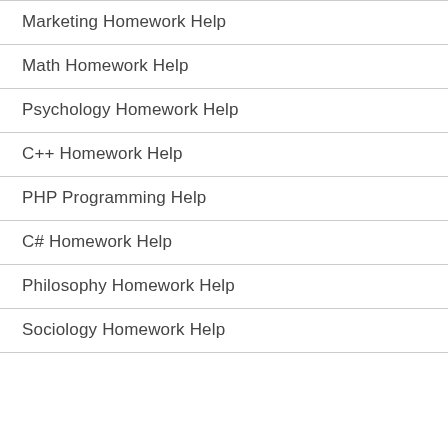Marketing Homework Help
Math Homework Help
Psychology Homework Help
C++ Homework Help
PHP Programming Help
C# Homework Help
Philosophy Homework Help
Sociology Homework Help